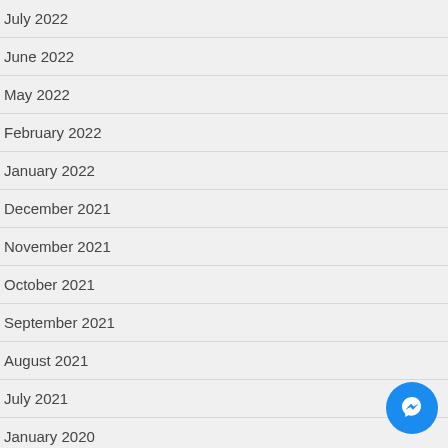July 2022
June 2022
May 2022
February 2022
January 2022
December 2021
November 2021
October 2021
September 2021
August 2021
July 2021
January 2020
July 2018